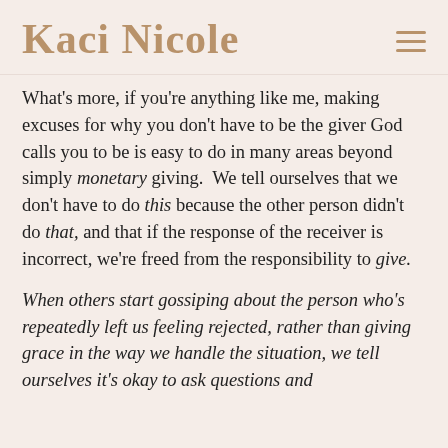Kaci Nicole
What's more, if you're anything like me, making excuses for why you don't have to be the giver God calls you to be is easy to do in many areas beyond simply monetary giving.  We tell ourselves that we don't have to do this because the other person didn't do that, and that if the response of the receiver is incorrect, we're freed from the responsibility to give.
When others start gossiping about the person who's repeatedly left us feeling rejected, rather than giving grace in the way we handle the situation, we tell ourselves it's okay to ask questions and